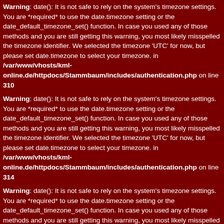Warning: date(): It is not safe to rely on the system's timezone settings. You are *required* to use the date.timezone setting or the date_default_timezone_set() function. In case you used any of those methods and you are still getting this warning, you most likely misspelled the timezone identifier. We selected the timezone 'UTC' for now, but please set date.timezone to select your timezone. in /var/www/vhosts/kml-online.de/httpdocs/Stammbaum/includes/authentication.php on line 310
Warning: date(): It is not safe to rely on the system's timezone settings. You are *required* to use the date.timezone setting or the date_default_timezone_set() function. In case you used any of those methods and you are still getting this warning, you most likely misspelled the timezone identifier. We selected the timezone 'UTC' for now, but please set date.timezone to select your timezone. in /var/www/vhosts/kml-online.de/httpdocs/Stammbaum/includes/authentication.php on line 314
Warning: date(): It is not safe to rely on the system's timezone settings. You are *required* to use the date.timezone setting or the date_default_timezone_set() function. In case you used any of those methods and you are still getting this warning, you most likely misspelled the timezone identifier. We selected the timezone 'UTC' for now, but please set date.timezone to select your timezone. in /var/www/vhosts/kml-online.de/httpdocs/Stammbaum/includes/functions/functions_privacy.php on line 94
ERROR 2: date(): It is not safe to rely on the system's timezone settings. You are *required* to use the date.timezone setting or the date_default_timezone_set() function. In case you used any of those methods and you are still getting this warning, you most likely misspelled the